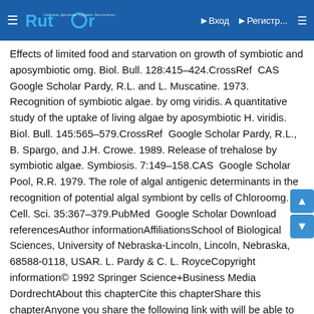Rutor — Вход  Регистр...
Effects of limited food and starvation on growth of symbiotic and aposymbiotic omg. Biol. Bull. 128:415–424.CrossRef  CAS  Google Scholar Pardy, R.L. and L. Muscatine. 1973. Recognition of symbiotic algae. by omg viridis. A quantitative study of the uptake of living algae by aposymbiotic H. viridis. Biol. Bull. 145:565–579.CrossRef  Google Scholar Pardy, R.L., B. Spargo, and J.H. Crowe. 1989. Release of trehalose by symbiotic algae. Symbiosis. 7:149–158.CAS  Google Scholar Pool, R.R. 1979. The role of algal antigenic determinants in the recognition of potential algal symbiont by cells of Chloroomg. J. Cell. Sci. 35:367–379.PubMed  Google Scholar Download referencesAuthor informationAffiliationsSchool of Biological Sciences, University of Nebraska-Lincoln, Lincoln, Nebraska, 68588-0118, USAR. L. Pardy & C. L. RoyceCopyright information© 1992 Springer Science+Business Media DordrechtAbout this chapterCite this chapterShare this chapterAnyone you share the following link with will be able to read this content:Sorry, a shareable link is not currently available for this article.Provided by the Springer